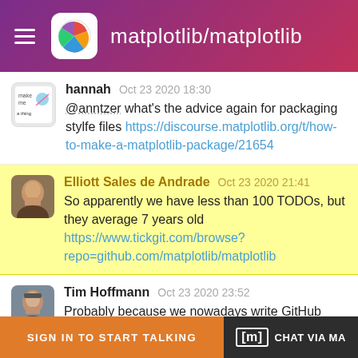matplotlib/matplotlib
hannah  Oct 23 2020 18:30
@anntzer what's the advice again for packaging stylfe files https://discourse.matplotlib.org/t/how-to-make-a-matplotlib-package/21654
Elliott Sales de Andrade  Oct 23 2020 21:41
So apparently we have less than 100 TODOs, but they average 7 years old https://www.tickgit.com/browse?repo=github.com/matplotlib/matplotlib
Tim Hoffmann  Oct 23 2020 23:52
Probably because we nowadays write GitHub issues instead of TODO comments.
Antony Lee  Oct 24 2020 09:31